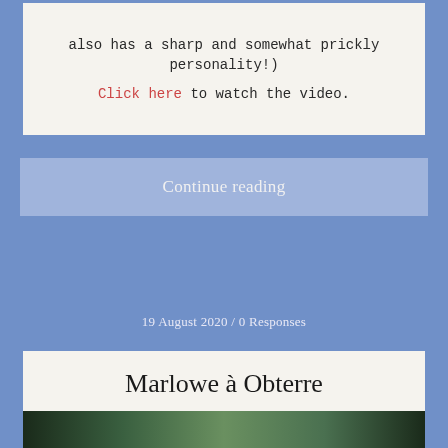also has a sharp and somewhat prickly personality!)
Click here to watch the video.
Continue reading
19 August 2020 / 0 Responses
Marlowe à Obterre
[Figure (photo): Dark image strip at the bottom of the page, appears to show a landscape with green tones]